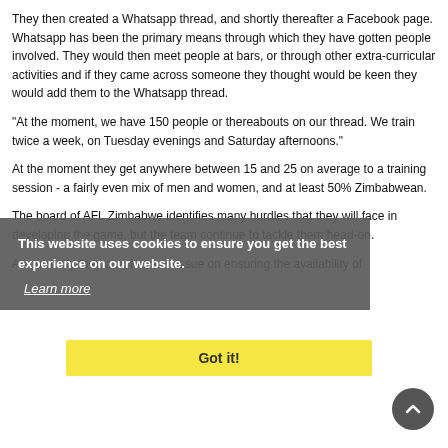They then created a Whatsapp thread, and shortly thereafter a Facebook page. Whatsapp has been the primary means through which they have gotten people involved. They would then meet people at bars, or through other extra-curricular activities and if they came across someone they thought would be keen they would add them to the Whatsapp thread.
"At the moment, we have 150 people or thereabouts on our thread. We train twice a week, on Tuesday evenings and Saturday afternoons."
At the moment they get anywhere between 15 and 25 on average to a training session - a fairly even mix of men and women, and at least 50% Zimbabwean.
The board of AFL Zimbabwe identifies many hurdles that they will face in developing the game, but the team continue to tackle them head-on.
As currently they also have an issue on ensuring the availability of